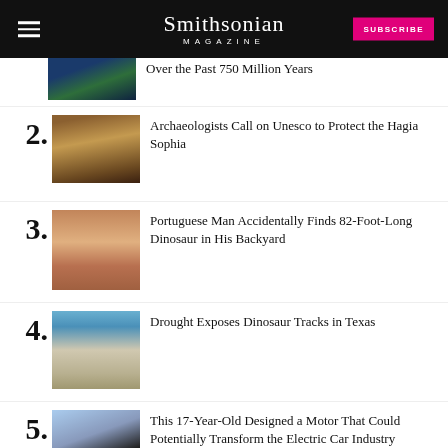Smithsonian Magazine | SUBSCRIBE
Over the Past 750 Million Years
2. Archaeologists Call on Unesco to Protect the Hagia Sophia
3. Portuguese Man Accidentally Finds 82-Foot-Long Dinosaur in His Backyard
4. Drought Exposes Dinosaur Tracks in Texas
5. This 17-Year-Old Designed a Motor That Could Potentially Transform the Electric Car Industry